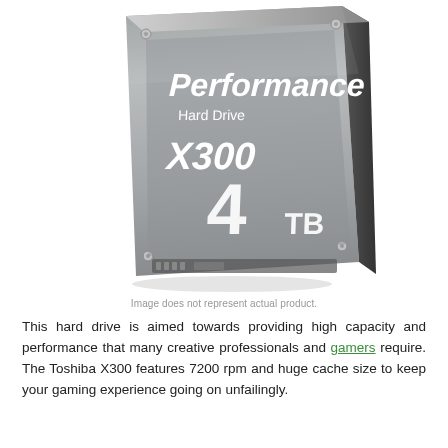[Figure (photo): Toshiba X300 4TB Performance Hard Drive product photo showing a 3.5-inch HDD with metallic gray label reading 'Performance Hard Drive X300 4TB']
Image does not represent actual product.
This hard drive is aimed towards providing high capacity and performance that many creative professionals and gamers require. The Toshiba X300 features 7200 rpm and huge cache size to keep your gaming experience going on unfailingly.